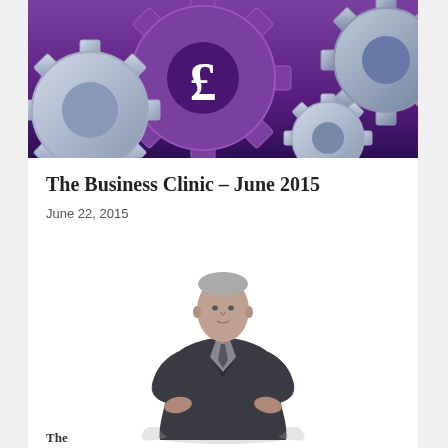[Figure (illustration): Banner image showing purple and silver/grey interlocking gear cogs with a pound sterling (£) symbol on the central gear, set against a purple gradient background.]
The Business Clinic – June 2015
June 22, 2015
[Figure (illustration): Illustration/photo of a middle-aged man in a dark grey suit with arms crossed, presented in a stylized ink or watercolour rendering against a white background.]
The